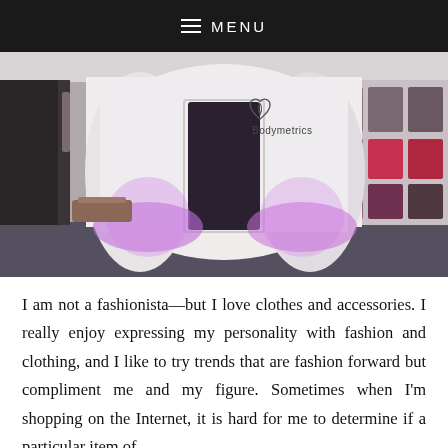≡ MENU
[Figure (photo): A white curved kiosk/pod with purple lighting and a Bodymetrics logo (heart shape with leaf) in a retail/mall environment. The pod has an open doorway and ambient purple glow at its base. Display cases with products are visible in the background on the right side.]
I am not a fashionista—but I love clothes and accessories. I really enjoy expressing my personality with fashion and clothing, and I like to try trends that are fashion forward but compliment me and my figure. Sometimes when I'm shopping on the Internet, it is hard for me to determine if a particular item of